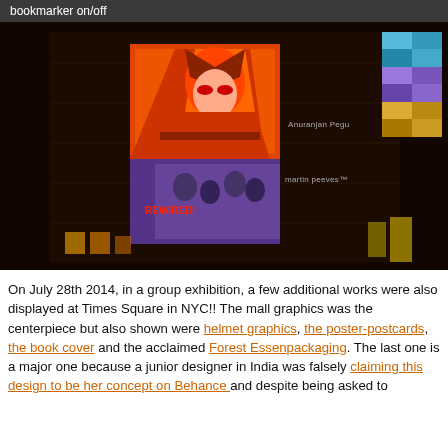bookmarker on/off
[Figure (photo): Night photograph of a building facade in Times Square NYC with a large illuminated billboard projection showing anime/game artwork in orange and purple tones. Text on building reads 'Anuranjan Pegu' and 'martin peeves'. Colorful display tiles visible on right edge. Windows with warm yellow light at building bottom.]
On July 28th 2014, in a group exhibition, a few additional works were also displayed at Times Square in NYC!! The mall graphics was the centerpiece but also shown were helmet graphics, the poster-postcards, the book cover and the acclaimed Forest Essences packaging. The last one is a major one because a junior designer in India was falsely claiming this design to be her concept on Behance and despite being asked to